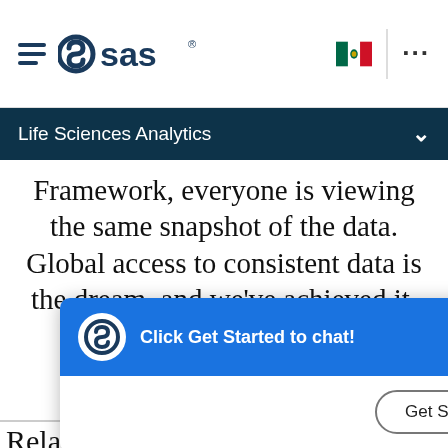SAS navigation bar with hamburger menu, SAS logo, Mexico flag, and ellipsis menu
Life Sciences Analytics
Framework, everyone is viewing the same snapshot of the data. Global access to consistent data is the dream, and we've achieved it.
[Figure (screenshot): SAS chat popup widget with blue header showing SAS logo and 'Click Get Started to chat!' message, close X button, and 'Get Started' button]
Read the story ›
Related Products & Solutions